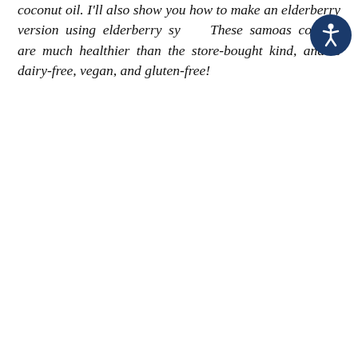coconut oil. I'll also show you how to make an elderberry version using elderberry sy... These samoas cookies are much healthier than the store-bought kind, and is dairy-free, vegan, and gluten-free!
[Figure (other): Accessibility icon - a circular dark blue button with a white human figure (accessibility symbol)]